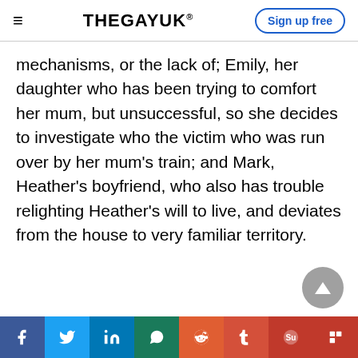THEGAYUK® | Sign up free
mechanisms, or the lack of; Emily, her daughter who has been trying to comfort her mum, but unsuccessful, so she decides to investigate who the victim who was run over by her mum's train; and Mark, Heather's boyfriend, who also has trouble relighting Heather's will to live, and deviates from the house to very familiar territory.
Social share bar: Facebook, Twitter, LinkedIn, WhatsApp, Reddit, Tumblr, StumbleUpon, Flipboard